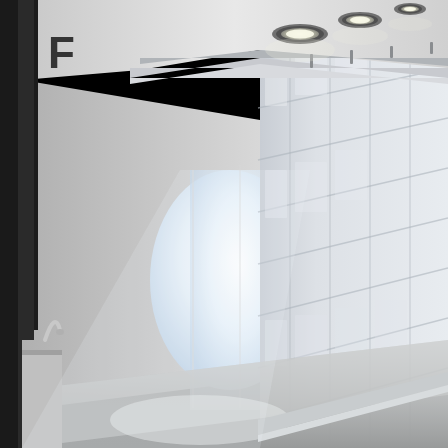[Figure (photo): Interior hallway or kitchen corridor with white square ceramic subway tiles on the right wall, recessed circular ceiling lights overhead, a window at the far end letting in natural light, a dark vertical structural element on the left edge, and a reflective light-colored floor. The perspective is from one end of the corridor looking toward a bright window.]